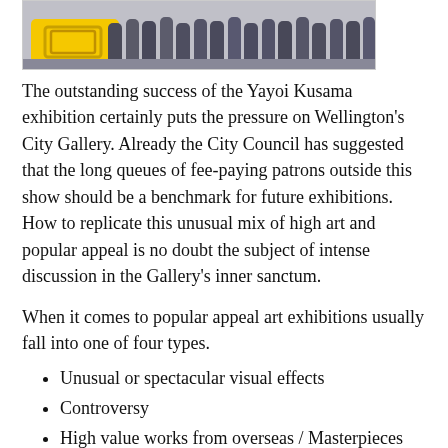[Figure (photo): Partial photo showing people standing in a queue outside, with a yellow sculptural or signage element visible on the left. People are wearing casual clothes, jeans, etc. Photo is partially cropped at the top.]
The outstanding success of the Yayoi Kusama exhibition certainly puts the pressure on Wellington's City Gallery. Already the City Council has suggested that the long queues of fee-paying patrons outside this show should be a benchmark for future exhibitions. How to replicate this unusual mix of high art and popular appeal is no doubt the subject of intense discussion in the Gallery's inner sanctum.
When it comes to popular appeal art exhibitions usually fall into one of four types.
Unusual or spectacular visual effects
Controversy
High value works from overseas / Masterpieces
Extreme rarity
The City Gallery has had successes in at least three of these categories - Kusama and Picinnini (visual effects), Mapplethorp (controversy) and Exhibition of the Century (Masterpieces). So where to next?